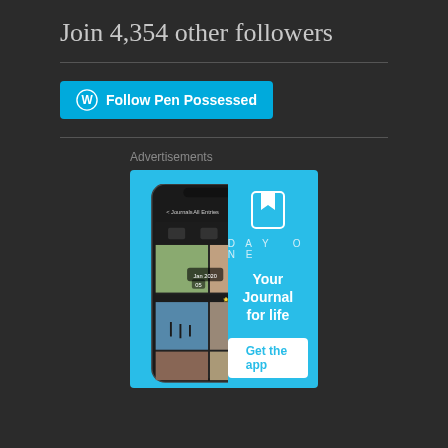Join 4,354 other followers
[Figure (illustration): Cyan 'Follow Pen Possessed' button with WordPress logo icon]
Advertisements
[Figure (illustration): Day One app advertisement banner. Shows a phone mockup with the Day One journaling app interface on a cyan background. On the right side: Day One logo icon, 'DAY ONE' text, 'Your Journal for life' tagline, and 'Get the app' button.]